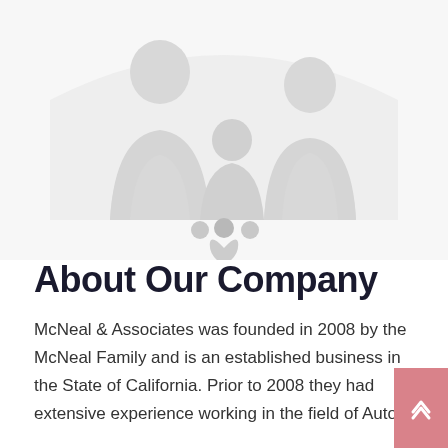[Figure (illustration): Light gray silhouette illustration of a family (two adults and a child) standing under a roof/house arch shape, with three small dots below suggesting a loading or carousel indicator]
About Our Company
McNeal & Associates was founded in 2008 by the McNeal Family and is an established business in the State of California. Prior to 2008 they had extensive experience working in the field of Auto,